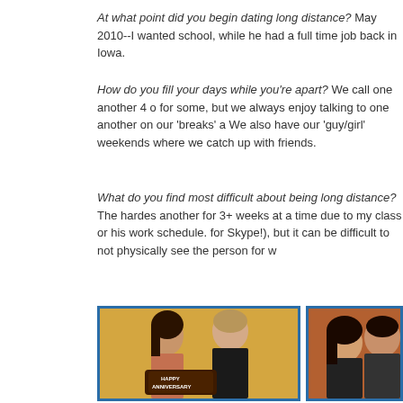At what point did you begin dating long distance? May 2010--I wanted school, while he had a full time job back in Iowa.
How do you fill your days while you're apart? We call one another 4 o for some, but we always enjoy talking to one another on our 'breaks' a We also have our 'guy/girl' weekends where we catch up with friends.
What do you find most difficult about being long distance? The hardes another for 3+ weeks at a time due to my class or his work schedule. for Skype!), but it can be difficult to not physically see the person for w
[Figure (photo): Couple holding a Happy Anniversary cake, woman with dark hair and man in black shirt, yellow background]
[Figure (photo): Couple posing together, woman with dark hair and man with dark short hair, orange/brown background]